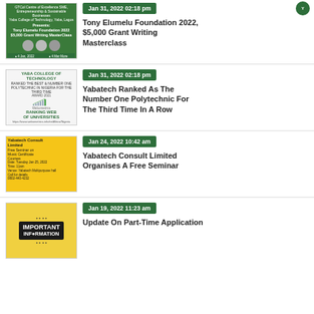[Figure (illustration): Tony Elumelu Foundation 2022 $5,000 Grant Writing Masterclass event poster with green background]
Jan 31, 2022 02:18 pm (date badge for item 1 - not visible in this crop)
Tony Elumelu Foundation 2022, $5,000 Grant Writing Masterclass
[Figure (illustration): Yaba College of Technology ranked number one polytechnic in Nigeria for the third time - Webometrics Ranking Web of Universities]
Jan 31, 2022 02:18 pm
Yabatech Ranked As The Number One Polytechnic For The Third Time In A Row
[Figure (illustration): Yabatech Consult Limited Free Seminar on Music Certificate Courses promotional poster with yellow background]
Jan 24, 2022 10:42 am
Yabatech Consult Limited Organises A Free Seminar
[Figure (illustration): Important Information banner with yellow and black design]
Jan 19, 2022 11:23 am
Update On Part-Time Application